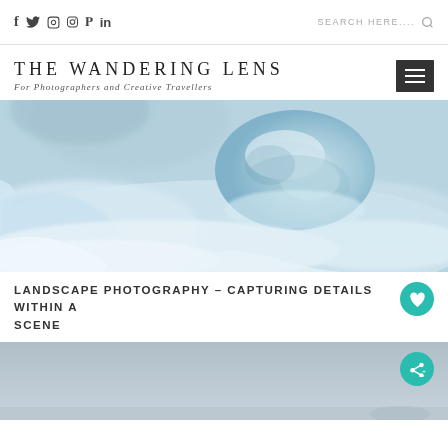f  Twitter  Instagram  Pinterest  in   SEARCH HERE....
THE WANDERING LENS
For Photographers and Creative Travellers
[Figure (photo): Close-up photo of ice/glacier chunk surrounded by flowing milky white water with blue tones]
LANDSCAPE PHOTOGRAPHY – CAPTURING DETAILS WITHIN A SCENE
[Figure (photo): Pale blue/grey sky photo, partial view at bottom of page]